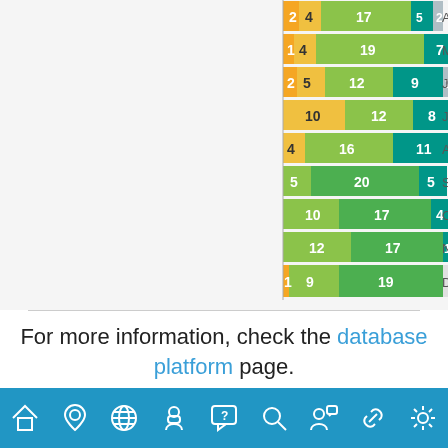[Figure (stacked-bar-chart): Partial stacked bar chart showing monthly data with colored segments (yellow, light green, dark green, teal, blue-grey). Top portion of chart visible.]
For more information, check the database platform page.
[Figure (infographic): Blue footer navigation bar with 9 icon buttons: home, location pin, globe, person with mask, FAQ speech bubble, search magnifier, person with speech bubble, link/chain, settings gear]